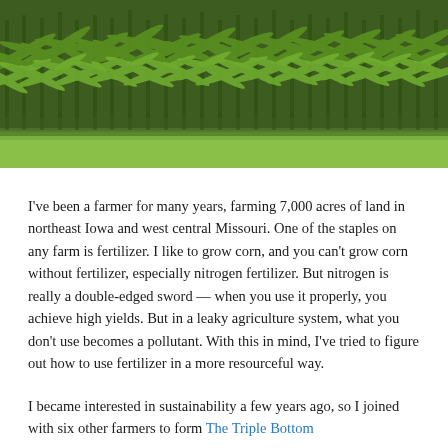[Figure (photo): Photograph of a corn field with tall green corn stalks and green grass in the foreground]
I've been a farmer for many years, farming 7,000 acres of land in northeast Iowa and west central Missouri. One of the staples on any farm is fertilizer. I like to grow corn, and you can't grow corn without fertilizer, especially nitrogen fertilizer. But nitrogen is really a double-edged sword — when you use it properly, you achieve high yields. But in a leaky agriculture system, what you don't use becomes a pollutant. With this in mind, I've tried to figure out how to use fertilizer in a more resourceful way.
I became interested in sustainability a few years ago, so I joined with six other farmers to form The Triple Bottom